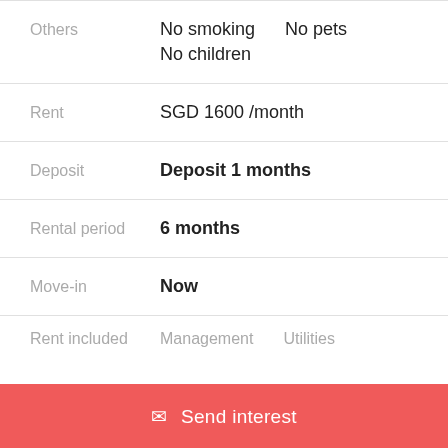| Field | Value |
| --- | --- |
| Others | No smoking   No pets
No children |
| Rent | SGD 1600 /month |
| Deposit | Deposit 1 months |
| Rental period | 6 months |
| Move-in | Now |
| Rent included | Management   Utilities |
Send interest